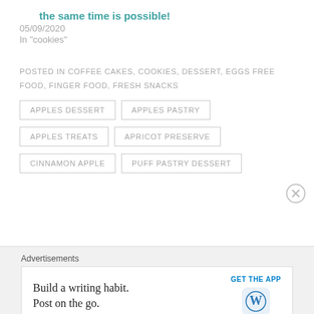the same time is possible!
05/09/2020
In "cookies"
POSTED IN COFFEE CAKES, COOKIES, DESSERT, EGGS FREE FOOD, FINGER FOOD, FRESH SNACKS
APPLES DESSERT
APPLES PASTRY
APPLES TREATS
APRICOT PRESERVE
CINNAMON APPLE
PUFF PASTRY DESSERT
Advertisements
Build a writing habit. Post on the go. GET THE APP